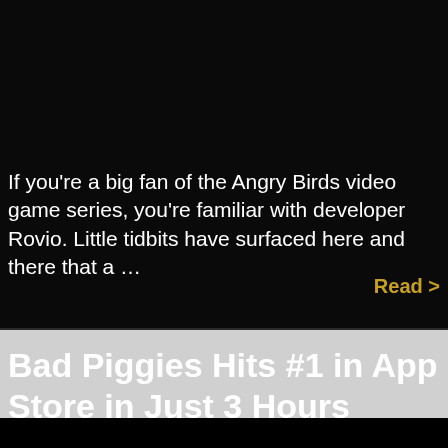If you're a big fan of the Angry Birds video game series, you're familiar with developer Rovio. Little tidbits have surfaced here and there that a …
Read >
Bad Piggies Hits #1 in App Store in Just 3 Hours